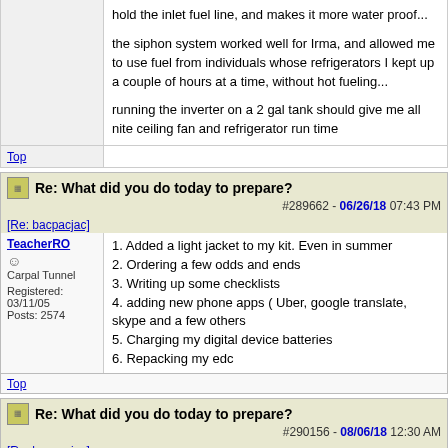hold the inlet fuel line, and makes it more water proof...
the siphon system worked well for Irma, and allowed me to use fuel from individuals whose refrigerators I kept up a couple of hours at a time, without hot fueling...
running the inverter on a 2 gal tank should give me all nite ceiling fan and refrigerator run time
Re: What did you do today to prepare? #289662 - 06/26/18 07:43 PM
[Re: bacpacjac]
TeacherRO
Carpal Tunnel
Registered: 03/11/05
Posts: 2574
1. Added a light jacket to my kit. Even in summer
2. Ordering a few odds and ends
3. Writing up some checklists
4. adding new phone apps ( Uber, google translate, skype and a few others
5. Charging my digital device batteries
6. Repacking my edc
Re: What did you do today to prepare? #290156 - 08/06/18 12:30 AM
[Re: bacpacjac]
Jeanette_Isabelle
Carpal Tunnel
I included a printed list of my prescription medications in my EDC bag.
Jeanette Isabelle